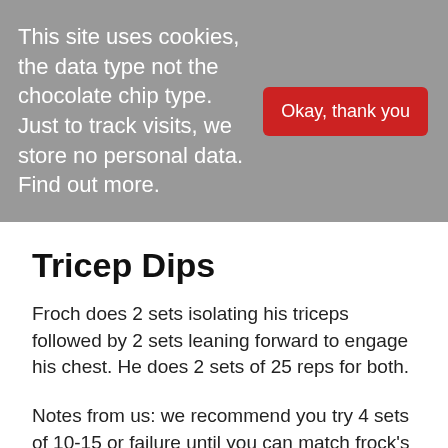This site uses cookies, the data type not the chocolate chip type. Just to track visits, we store no personal data. Find out more.
Okay, thank you
Tricep Dips
Froch does 2 sets isolating his triceps followed by 2 sets leaning forward to engage his chest. He does 2 sets of 25 reps for both.
Notes from us: we recommend you try 4 sets of 10-15 or failure until you can match frock's strength endurance.